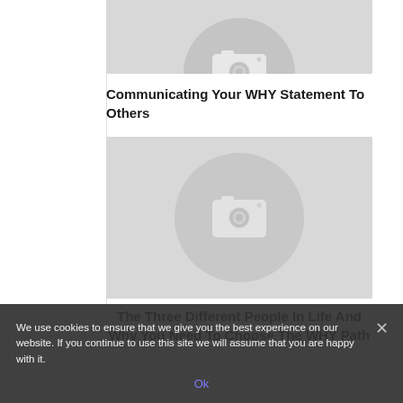[Figure (photo): Placeholder image with camera icon (top, partially visible)]
Communicating Your WHY Statement To Others
[Figure (photo): Placeholder image with camera icon (middle)]
The Three Different People In Life And Why You Need To Choose The WHY Path
We use cookies to ensure that we give you the best experience on our website. If you continue to use this site we will assume that you are happy with it.
Ok